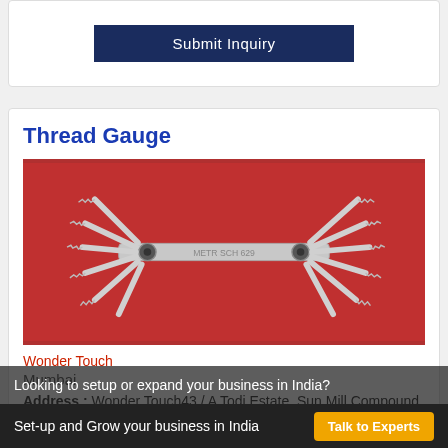Submit Inquiry
Thread Gauge
[Figure (photo): A metal thread gauge tool consisting of two fan-shaped sets of thin metal blades/leaves with serrated thread profiles, connected by a central pivot bar, photographed on a red background.]
Wonder Touch
Mumbai
Address : Wonder Touch43 / A Todi Estate, Sun Mill Compound, Lower Parel, Lower Parel
Looking to setup or expand your business in India?
Set-up and Grow your business in India
Talk to Experts